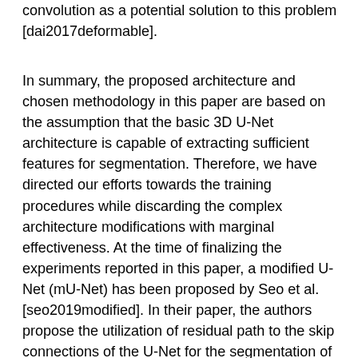We will consider in our future work to employ deformable convolution as a potential solution to this problem [dai2017deformable].
In summary, the proposed architecture and chosen methodology in this paper are based on the assumption that the basic 3D U-Net architecture is capable of extracting sufficient features for segmentation. Therefore, we have directed our efforts towards the training procedures while discarding the complex architecture modifications with marginal effectiveness. At the time of finalizing the experiments reported in this paper, a modified U-Net (mU-Net) has been proposed by Seo et al. [seo2019modified]. In their paper, the authors propose the utilization of residual path to the skip connections of the U-Net for the segmentation of livers and liver tumors. This paper shares a similar motivation with ours, aiming and innovative ways of mining more effective information from low-resolution features for accurate segmentation of medical images. The main difference from the architectural point of view is that Seo et al. introduce additional blocks, while we focus on effective but simpler strategies to achieve the same goal.